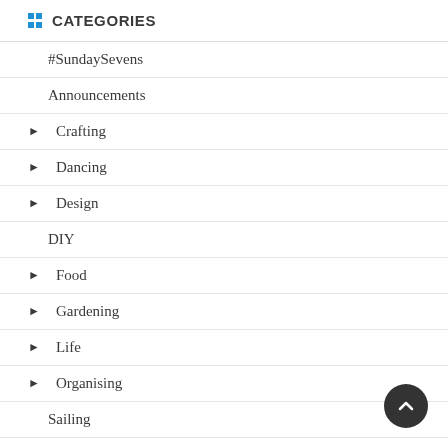CATEGORIES
#SundaySevens
Announcements
► Crafting
► Dancing
► Design
DIY
► Food
► Gardening
► Life
► Organising
Sailing
Travel
Tutorial
Uncategorised